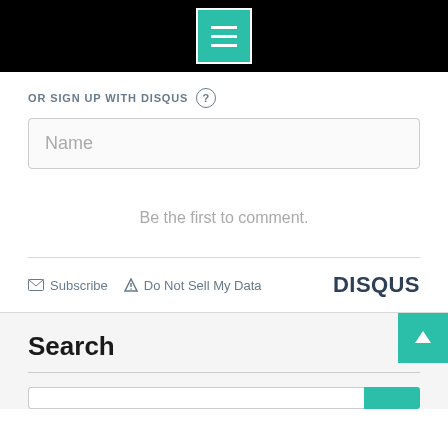[Figure (screenshot): Black top navigation bar with teal/green hamburger menu button (three horizontal white lines) centered on the bar]
OR SIGN UP WITH DISQUS ?
Name
Be the first to comment.
✉ Subscribe  ▲ Do Not Sell My Data    DISQUS
Search